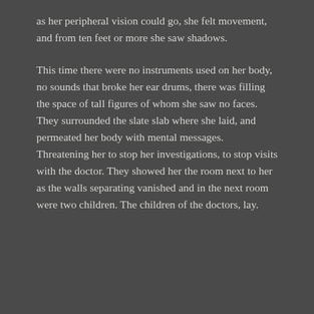as her peripheral vision could go, she felt movement, and from ten feet or more she saw shadows.
This time there were no instruments used on her body, no sounds that broke her ear drums, there was filling the space of tall figures of whom she saw no faces. They surrounded the slate slab where she laid, and permeated her body with mental messages. Threatening her to stop her investigations, to stop visits with the doctor. They showed her the room next to her as the walls separating vanished and in the next room were two children.  The children of the doctors, lay.